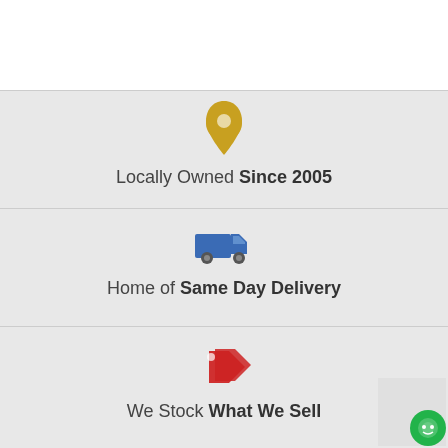[Figure (infographic): Gold map pin icon above text 'Locally Owned Since 2005']
Locally Owned Since 2005
[Figure (infographic): Blue delivery truck icon above text 'Home of Same Day Delivery']
Home of Same Day Delivery
[Figure (infographic): Red price tag icon above text 'We Stock What We Sell']
We Stock What We Sell